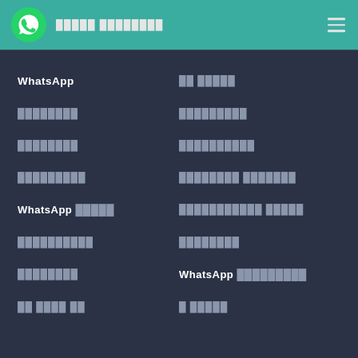WhatsApp app navigation header with logo and menu
WhatsApp
██ █████
████████
█████████
████████
██████████
█████████
████████ ███████
WhatsApp █████
███████████ █████
██████████
████████
████████
WhatsApp █████████
██ ████ ██
█ █████